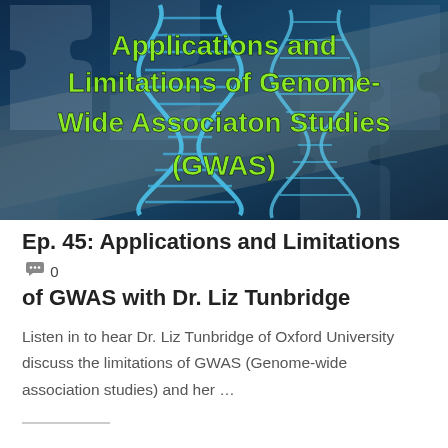[Figure (illustration): Banner image showing DNA double helix strands over a jigsaw puzzle background with green text overlay: 'Applications and Limitations of Genome-Wide Associaton Studies (GWAS)']
Ep. 45: Applications and Limitations of GWAS with Dr. Liz Tunbridge 💬 0
Listen in to hear Dr. Liz Tunbridge of Oxford University discuss the limitations of GWAS (Genome-wide association studies) and her …